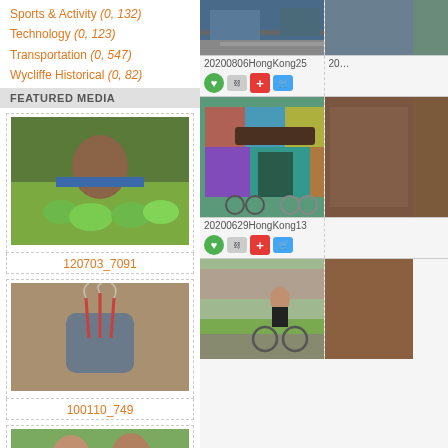Sports & Activity (0, 132)
Technology (0, 123)
Transportation (0, 547)
Wycliffe Historical (0, 82)
FEATURED MEDIA
[Figure (photo): Woman at market with green vegetables/mangoes]
120703_7091
[Figure (photo): Incense burner with smoke]
100110_749
[Figure (photo): Two women outdoors (partial, cropped)]
[Figure (photo): Hong Kong street scene from above (partial)]
20200806HongKong25
[Figure (photo): Colorful mural building with bicycles - Hong Kong]
20200629HongKong13
[Figure (photo): Boy riding bicycle on path, partial right image]
[Figure (photo): Partial right image - market scene]